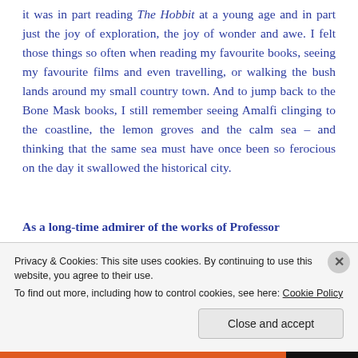it was in part reading The Hobbit at a young age and in part just the joy of exploration, the joy of wonder and awe. I felt those things so often when reading my favourite books, seeing my favourite films and even travelling, or walking the bush lands around my small country town. And to jump back to the Bone Mask books, I still remember seeing Amalfi clinging to the coastline, the lemon groves and the calm sea – and thinking that the same sea must have once been so ferocious on the day it swallowed the historical city.
As a long-time admirer of the works of Professor Tolkien, one of the reasons I'm fascinated...
Privacy & Cookies: This site uses cookies. By continuing to use this website, you agree to their use.
To find out more, including how to control cookies, see here: Cookie Policy
Close and accept